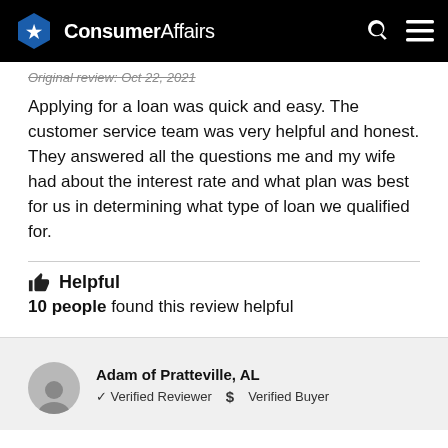ConsumerAffairs
Original review: Oct 22, 2021
Applying for a loan was quick and easy. The customer service team was very helpful and honest. They answered all the questions me and my wife had about the interest rate and what plan was best for us in determining what type of loan we qualified for.
Helpful
10 people found this review helpful
Adam of Pratteville, AL
✓ Verified Reviewer  $ Verified Buyer